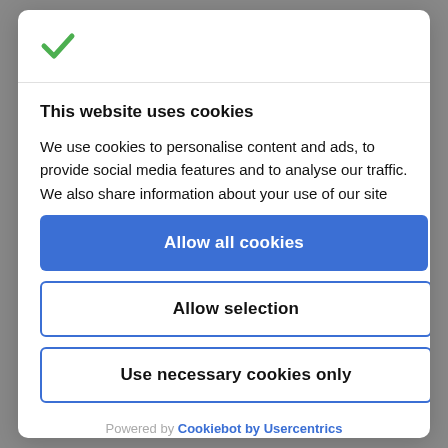[Figure (logo): Green checkmark logo in the top-left of the cookie consent modal]
This website uses cookies
We use cookies to personalise content and ads, to provide social media features and to analyse our traffic. We also share information about your use of our site
Allow all cookies
Allow selection
Use necessary cookies only
Powered by Cookiebot by Usercentrics